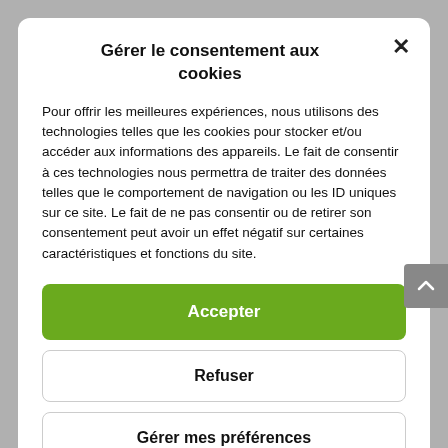Gérer le consentement aux cookies
Pour offrir les meilleures expériences, nous utilisons des technologies telles que les cookies pour stocker et/ou accéder aux informations des appareils. Le fait de consentir à ces technologies nous permettra de traiter des données telles que le comportement de navigation ou les ID uniques sur ce site. Le fait de ne pas consentir ou de retirer son consentement peut avoir un effet négatif sur certaines caractéristiques et fonctions du site.
Accepter
Refuser
Gérer mes préférences
Cookie Policy